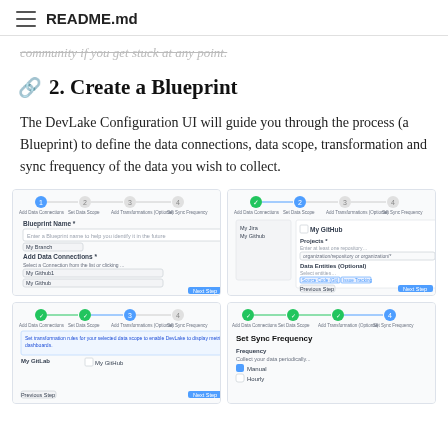README.md
community if you get stuck at any point.
2. Create a Blueprint
The DevLake Configuration UI will guide you through the process (a Blueprint) to define the data connections, data scope, transformation and sync frequency of the data you wish to collect.
[Figure (screenshot): Screenshot of DevLake Configuration UI showing Blueprint setup step 1 with Blueprint Name and Add Data Connections fields]
[Figure (screenshot): Screenshot of DevLake Configuration UI showing step 2 with My GitHub checkbox and Projects selection]
[Figure (screenshot): Screenshot of DevLake Configuration UI showing step 3 with data transformation options and My GitHub/My GitLab fields]
[Figure (screenshot): Screenshot of DevLake Configuration UI showing Set Sync Frequency step with Frequency options]